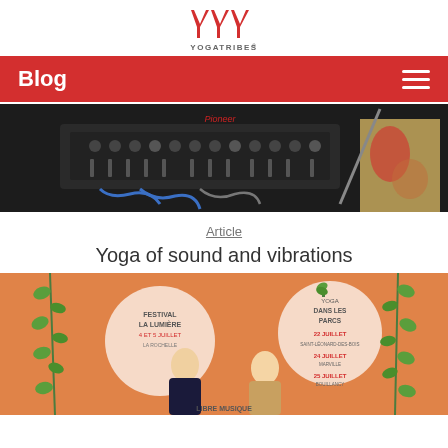[Figure (logo): YYY YOGATRIBES logo — three red Y letters above, with YOGATRIBES text below in gray]
Blog
[Figure (photo): Close-up photo of Pioneer DJ mixer/turntable equipment with cables at an outdoor event]
Article
Yoga of sound and vibrations
[Figure (photo): Two men posing in front of a Festival La Lumière / Yoga Dans Les Parcs event banner with decorative vines; event dates listed including 22 juillet, 24 juillet, 25 juillet]